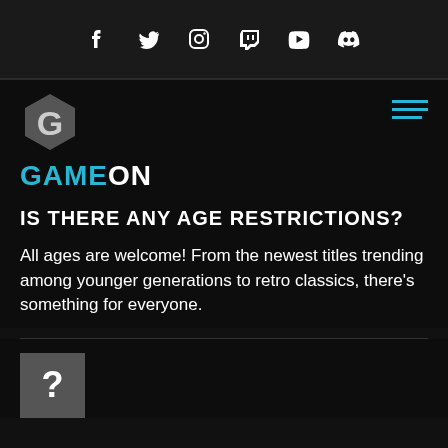Social media icons: Facebook, Twitter, Instagram, Twitch, YouTube, Discord
[Figure (logo): GameOn brand logo: hexagonal G icon in silver/grey tones above the GAMEON wordmark in cyan and white]
IS THERE ANY AGE RESTRICTIONS?
All ages are welcome! From the newest titles trending among younger generations to retro classics, there's something for everyone.
[Figure (other): Partially visible grey square with a question mark, beginning of next FAQ section]